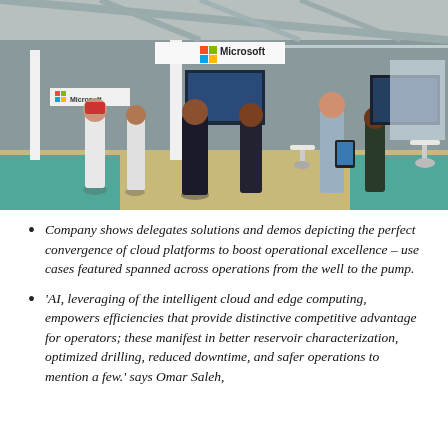[Figure (photo): Photo of a Microsoft exhibition booth at a trade show. Multiple people are gathered at the booth, which displays Microsoft branding and logos. Screens show various digital content. The booth has white structures and a light wood-colored floor with teal/green carpet surrounding it.]
Company shows delegates solutions and demos depicting the perfect convergence of cloud platforms to boost operational excellence – use cases featured spanned across operations from the well to the pump.
'AI, leveraging of the intelligent cloud and edge computing, empowers efficiencies that provide distinctive competitive advantage for operators; these manifest in better reservoir characterization, optimized drilling, reduced downtime, and safer operations to mention a few.' says Omar Saleh,